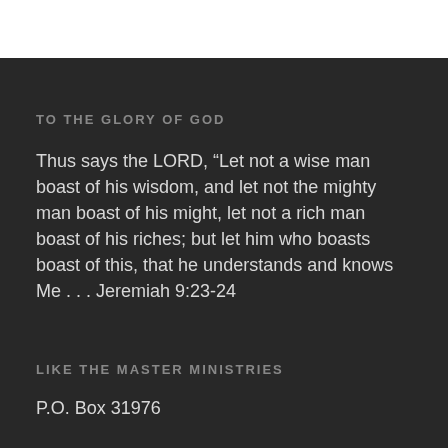TO THE GLORY OF GOD
Thus says the LORD, “Let not a wise man boast of his wisdom, and let not the mighty man boast of his might, let not a rich man boast of his riches; but let him who boasts boast of this, that he understands and knows Me . . . Jeremiah 9:23-24
LIKE THE MASTER MINISTRIES
P.O. Box 31976